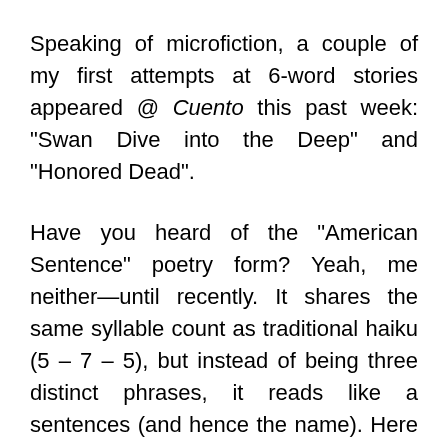Speaking of microfiction, a couple of my first attempts at 6-word stories appeared @ Cuento this past week: "Swan Dive into the Deep" and "Honored Dead".
Have you heard of the "American Sentence" poetry form? Yeah, me neither—until recently. It shares the same syllable count as traditional haiku (5 – 7 – 5), but instead of being three distinct phrases, it reads like a sentences (and hence the name). Here are a couple of mine: